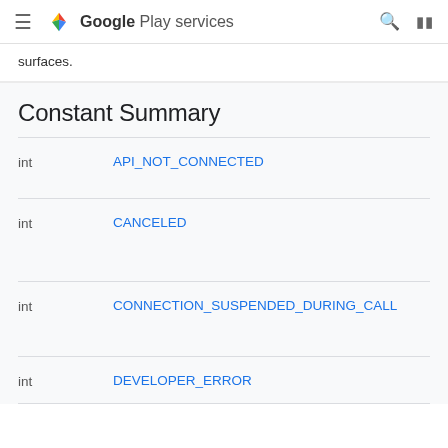Google Play services
surfaces.
Constant Summary
|  |  |
| --- | --- |
| int | API_NOT_CONNECTED |
| int | CANCELED |
| int | CONNECTION_SUSPENDED_DURING_CALL |
| int | DEVELOPER_ERROR |